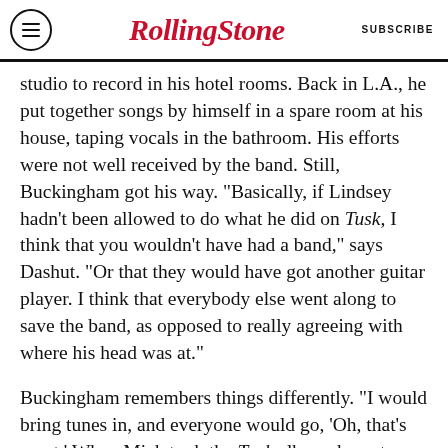Rolling Stone  SUBSCRIBE
studio to record in his hotel rooms. Back in L.A., he put together songs by himself in a spare room at his house, taping vocals in the bathroom. His efforts were not well received by the band. Still, Buckingham got his way. "Basically, if Lindsey hadn't been allowed to do what he did on Tusk, I think that you wouldn't have had a band," says Dashut. "Or that they would have got another guitar player. I think that everybody else went along to save the band, as opposed to really agreeing with where his head was at."
Buckingham remembers things differently. "I would bring tunes in, and everyone would go, 'Oh, that's great.' When Mick took the Tusk album down to Warner Bros., everyone was jumping up and down, going, 'Oh, this is really one of the